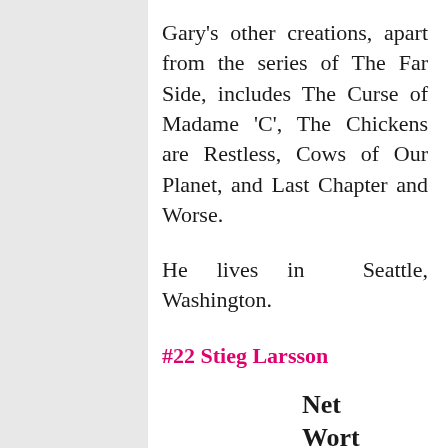Gary's other creations, apart from the series of The Far Side, includes The Curse of Madame 'C', The Chickens are Restless, Cows of Our Planet, and Last Chapter and Worse.
He lives in Seattle, Washington.
#22 Stieg Larsson
Net Worth- $50 Milli